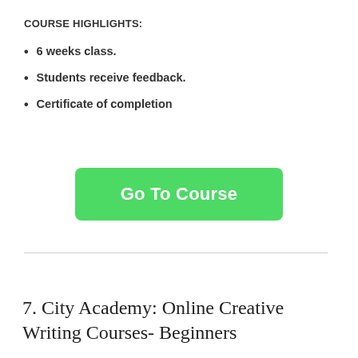COURSE HIGHLIGHTS:
6 weeks class.
Students receive feedback.
Certificate of completion
[Figure (other): Green 'Go To Course' button]
7. City Academy: Online Creative Writing Courses- Beginners